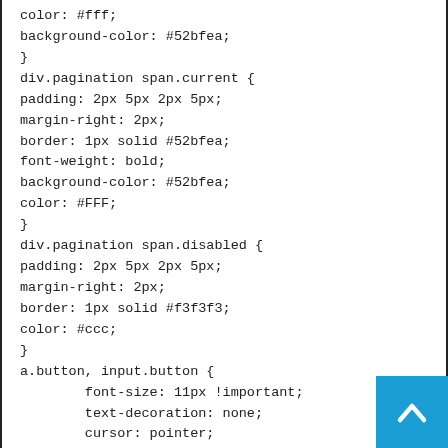color: #fff;
background-color: #52bfea;
}
div.pagination span.current {
padding: 2px 5px 2px 5px;
margin-right: 2px;
border: 1px solid #52bfea;
font-weight: bold;
background-color: #52bfea;
color: #FFF;
}
div.pagination span.disabled {
padding: 2px 5px 2px 5px;
margin-right: 2px;
border: 1px solid #f3f3f3;
color: #ccc;
}
a.button, input.button {
        font-size: 11px !important;
        text-decoration: none;
        cursor: pointer;
        display: inline-block;
        position: relative;
        font-weight: bold;
        color: #ffffff;
[Figure (other): Back to top button: blue square with white upward-pointing chevron arrow]